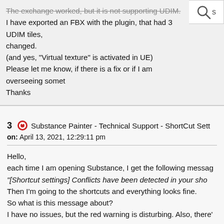[Figure (screenshot): Search icon in top right corner]
The exchange worked, but it is not supporting UDIM.
I have exported an FBX with the plugin, that had 3 UDIM tiles,
changed.
(and yes, "Virtual texture" is activated in UE)
Please let me know, if there is a fix or if I am overseeing somet
Thanks
3  Substance Painter - Technical Support - ShortCut Sett
on: April 13, 2021, 12:29:11 pm

Hello,
each time I am opening Substance, I get the following messag
"[Shortcut settings] Conflicts have been detected in your sho
Then I'm going to the shortcuts and everything looks fine.
So what is this message about?
I have no issues, but the red warning is disturbing. Also, there'

Thanks for help!